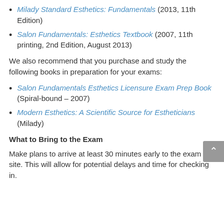Milady Standard Esthetics: Fundamentals (2013, 11th Edition)
Salon Fundamentals: Esthetics Textbook (2007, 11th printing, 2nd Edition, August 2013)
We also recommend that you purchase and study the following books in preparation for your exams:
Salon Fundamentals Esthetics Licensure Exam Prep Book (Spiral-bound – 2007)
Modern Esthetics: A Scientific Source for Estheticians (Milady)
What to Bring to the Exam
Make plans to arrive at least 30 minutes early to the exam site. This will allow for potential delays and time for checking in.